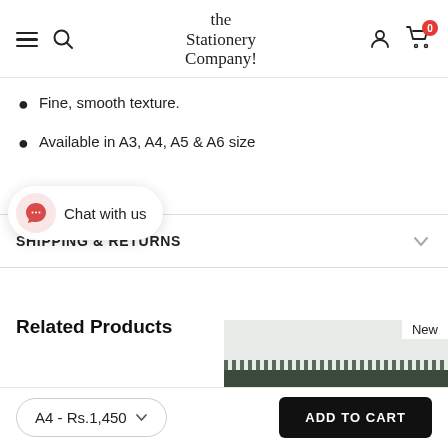The Stationery Company — navigation header with hamburger, search, logo, user and cart icons
Fine, smooth texture.
Available in A3, A4, A5 & A6 size
[Figure (infographic): WhatsApp chat widget bubble with 'Chat with us' text]
SHIPPING & RETURNS
Related Products
[Figure (photo): Partial product thumbnail image area with dark green binding, labeled 'New']
A4 - Rs.1,450  ADD TO CART